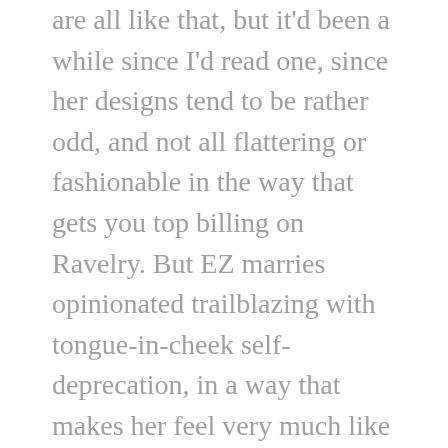are all like that, but it'd been a while since I'd read one, since her designs tend to be rather odd, and not all flattering or fashionable in the way that gets you top billing on Ravelry. But EZ marries opinionated trailblazing with tongue-in-cheek self-deprecation, in a way that makes her feel very much like the winking grandmother of my generation of knitters. As my own knitting gets ever more practical and classic, and less fussed about the hourglass silhouette, I could see myself turning to her more often.